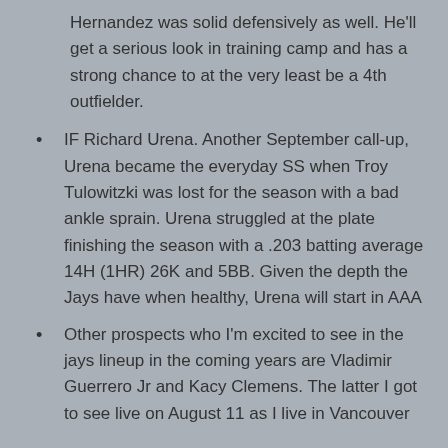Hernandez was solid defensively as well. He'll get a serious look in training camp and has a strong chance to at the very least be a 4th outfielder.
IF Richard Urena. Another September call-up, Urena became the everyday SS when Troy Tulowitzki was lost for the season with a bad ankle sprain. Urena struggled at the plate finishing the season with a .203 batting average 14H (1HR) 26K and 5BB. Given the depth the Jays have when healthy, Urena will start in AAA
Other prospects who I'm excited to see in the jays lineup in the coming years are Vladimir Guerrero Jr and Kacy Clemens. The latter I got to see live on August 11 as I live in Vancouver